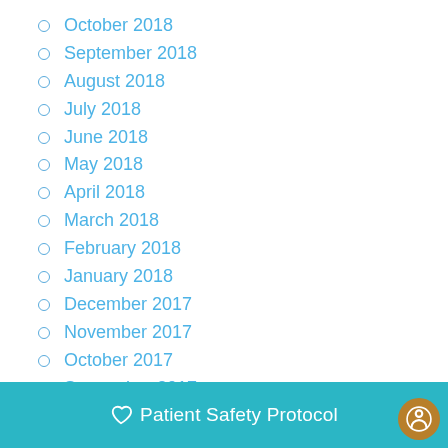October 2018
September 2018
August 2018
July 2018
June 2018
May 2018
April 2018
March 2018
February 2018
January 2018
December 2017
November 2017
October 2017
September 2017
August 2017
July 2017
♡ Patient Safety Protocol